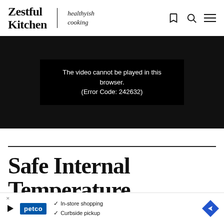Zestful Kitchen | healthyish cooking
[Figure (screenshot): Video player showing error message: 'The video cannot be played in this browser. (Error Code: 242632)' on dark background]
Safe Internal Temperature
Co...
[Figure (other): Petco advertisement banner with In-store shopping and Curbside pickup checkmarks, blue navigation arrow icon]